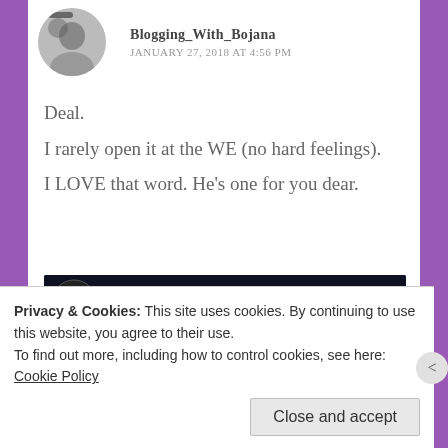Blogging_With_Bojana — JANUARY 27, 2018 AT 4:56 PM
Deal.
I rarely open it at the WE (no hard feelings).
I LOVE that word. He's one for you dear.
[Figure (screenshot): YouTube video thumbnail for 'Queen - Innuendo (Offi...' embedded in a blog comment, showing the Queen logo, video title bar, and a play button over a warm-toned image.]
Privacy & Cookies: This site uses cookies. By continuing to use this website, you agree to their use.
To find out more, including how to control cookies, see here: Cookie Policy
Close and accept